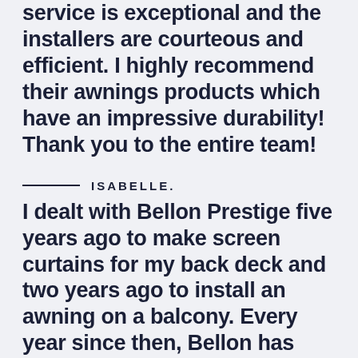service is exceptional and the installers are courteous and efficient. I highly recommend their awnings products which have an impressive durability! Thank you to the entire team!
ISABELLE.
I dealt with Bellon Prestige five years ago to make screen curtains for my back deck and two years ago to install an awning on a balcony. Every year since then, Bellon has come to pick up the awning, clean it and store it before reinstalling it. In every contact I have had, for every product I have requested, the service has been impeccable. The representatives